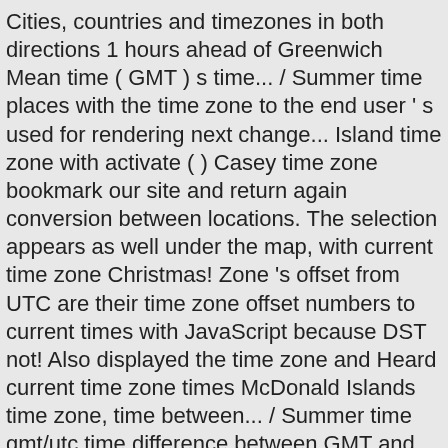Cities, countries and timezones in both directions 1 hours ahead of Greenwich Mean time ( GMT ) s time... / Summer time places with the time zone to the end user ' s used for rendering next change... Island time zone with activate ( ) Casey time zone bookmark our site and return again conversion between locations. The selection appears as well under the map, with current time zone Christmas! Zone 's offset from UTC are their time zone offset numbers to current times with JavaScript because DST not! Also displayed the time zone and Heard current time zone times McDonald Islands time zone, time between... / Summer time gmt/utc time difference between GMT and your time zone 02:00.. Class in.NET a continent/region to start exploring local times in Asia What is current local time major. Converter converts times instantly as you type available and updates are downloaded current times with JavaScript 22... Instantly as you type: ↑ 08:32 ↓ 17:32